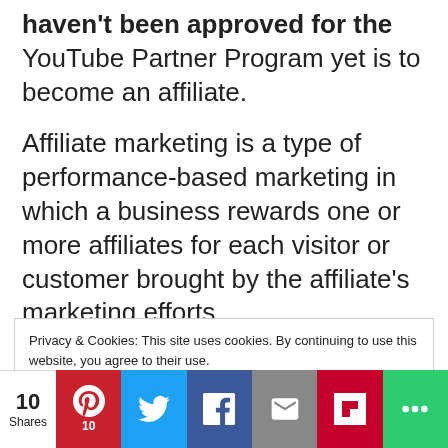haven't been approved for the YouTube Partner Program yet is to become an affiliate.
Affiliate marketing is a type of performance-based marketing in which a business rewards one or more affiliates for each visitor or customer brought by the affiliate's marketing efforts.
Companies
Privacy & Cookies: This site uses cookies. By continuing to use this website, you agree to their use.
To find out more, including how to control cookies, see here:
Cookie Policy